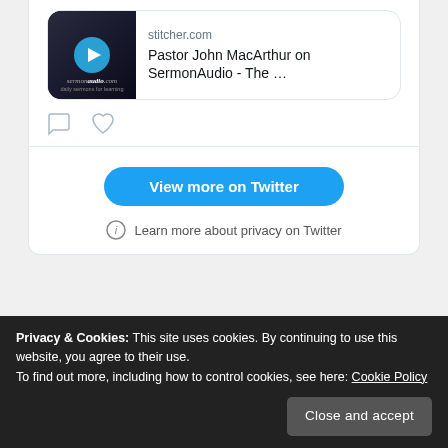[Figure (screenshot): Twitter embedded tweet card showing a link preview to stitcher.com for 'Pastor John MacArthur on SermonAudio - The ...' with a media thumbnail showing a play button over a sermon audio image. Below the preview are comment and like icons.]
View more on Twitter
Learn more about privacy on Twitter
Privacy & Cookies: This site uses cookies. By continuing to use this website, you agree to their use.
To find out more, including how to control cookies, see here: Cookie Policy
Close and accept